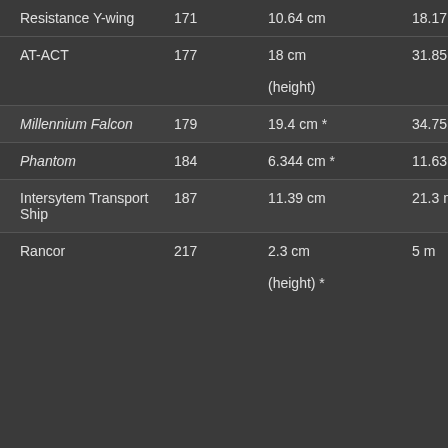| Resistance Y-wing | 171 | 10.64 cm | 18.17 m |
| AT-ACT | 177 | 18 cm (height) | 31.85 m |
| Millennium Falcon | 179 | 19.4 cm * | 34.75 m |
| Phantom | 184 | 6.344 cm * | 11.63 m |
| Intersytem Transport Ship | 187 | 11.39 cm | 21.3 m |
| Rancor | 217 | 2.3 cm (height) * | 5 m |